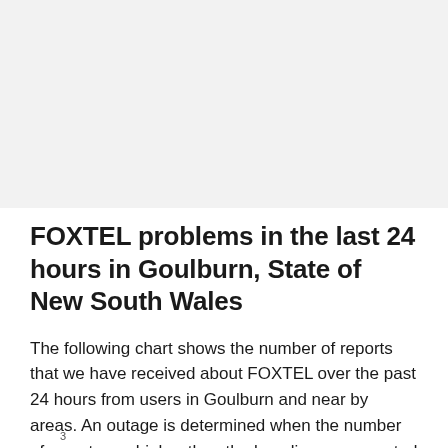[Figure (other): Gray placeholder area representing a chart region at the top of the page]
FOXTEL problems in the last 24 hours in Goulburn, State of New South Wales
The following chart shows the number of reports that we have received about FOXTEL over the past 24 hours from users in Goulburn and near by areas. An outage is determined when the number of reports are higher than the baseline, represented by the red line.
3